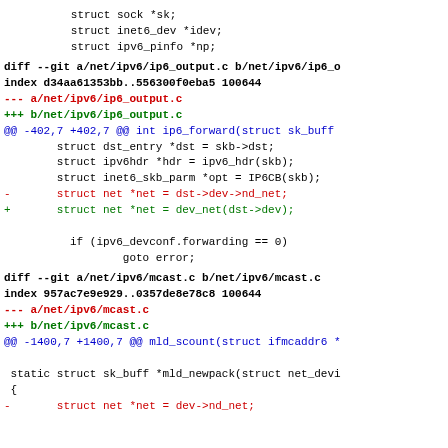struct sock *sk;
        struct inet6_dev *idev;
        struct ipv6_pinfo *np;
diff --git a/net/ipv6/ip6_output.c b/net/ipv6/ip6_o
index d34aa61353bb..556300f0eba5 100644
--- a/net/ipv6/ip6_output.c
+++ b/net/ipv6/ip6_output.c
@@ -402,7 +402,7 @@ int ip6_forward(struct sk_buff
        struct dst_entry *dst = skb->dst;
        struct ipv6hdr *hdr = ipv6_hdr(skb);
        struct inet6_skb_parm *opt = IP6CB(skb);
-       struct net *net = dst->dev->nd_net;
+       struct net *net = dev_net(dst->dev);

          if (ipv6_devconf.forwarding == 0)
                  goto error;
diff --git a/net/ipv6/mcast.c b/net/ipv6/mcast.c
index 957ac7e9e929..0357de8e78c8 100644
--- a/net/ipv6/mcast.c
+++ b/net/ipv6/mcast.c
@@ -1400,7 +1400,7 @@ mld_scount(struct ifmcaddr6 *

 static struct sk_buff *mld_newpack(struct net_devi
 {
-       struct net *net = dev->nd_net;